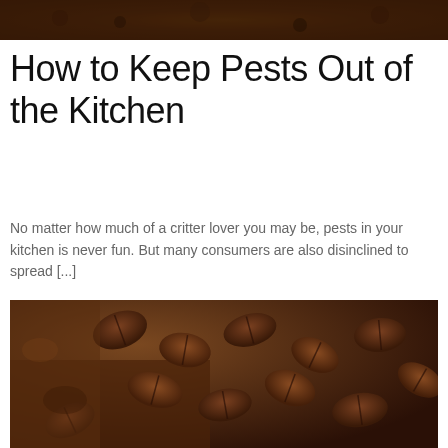[Figure (photo): Close-up overhead view of dark roasted coffee grounds, brown texture, cropped at top of page]
How to Keep Pests Out of the Kitchen
No matter how much of a critter lover you may be, pests in your kitchen is never fun. But many consumers are also disinclined to spread [...]
See more
[Figure (photo): Close-up photo of dark roasted coffee beans mixed with ground coffee powder, warm brown tones, fills lower portion of page]